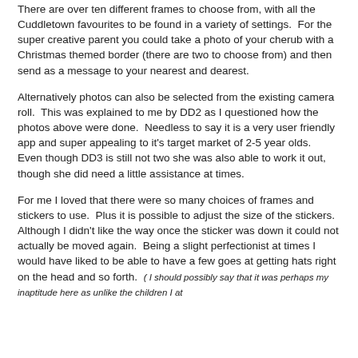There are over ten different frames to choose from, with all the Cuddletown favourites to be found in a variety of settings.  For the super creative parent you could take a photo of your cherub with a Christmas themed border (there are two to choose from) and then send as a message to your nearest and dearest.
Alternatively photos can also be selected from the existing camera roll.  This was explained to me by DD2 as I questioned how the photos above were done.  Needless to say it is a very user friendly app and super appealing to it's target market of 2-5 year olds.  Even though DD3 is still not two she was also able to work it out, though she did need a little assistance at times.
For me I loved that there were so many choices of frames and stickers to use.  Plus it is possible to adjust the size of the stickers.  Although I didn't like the way once the sticker was down it could not actually be moved again.  Being a slight perfectionist at times I would have liked to be able to have a few goes at getting hats right on the head and so forth.  (I should possibly say that it was perhaps my inaptitude here as unlike the children I at